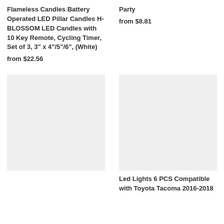Flameless Candles Battery Operated LED Pillar Candles H-BLOSSOM LED Candles with 10 Key Remote, Cycling Timer, Set of 3, 3" x 4"/5"/6", (White)
from $22.56
Party
from $8.81
[Figure (photo): Product image placeholder - left bottom]
[Figure (photo): Product image placeholder - right bottom]
Led Lights 6 PCS Compatible with Toyota Tacoma 2016-2018